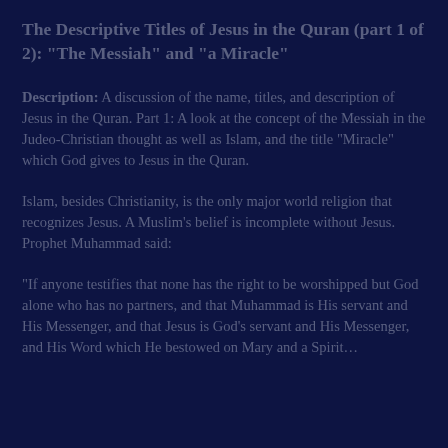The Descriptive Titles of Jesus in the Quran (part 1 of 2): "The Messiah" and "a Miracle"
Description: A discussion of the name, titles, and description of Jesus in the Quran. Part 1: A look at the concept of the Messiah in the Judeo-Christian thought as well as Islam, and the title "Miracle" which God gives to Jesus in the Quran.
Islam, besides Christianity, is the only major world religion that recognizes Jesus. A Muslim's belief is incomplete without Jesus. Prophet Muhammad said:
"If anyone testifies that none has the right to be worshipped but God alone who has no partners, and that Muhammad is His servant and His Messenger, and that Jesus is God's servant and His Messenger, and His Word which He bestowed on Mary and a Spirit…